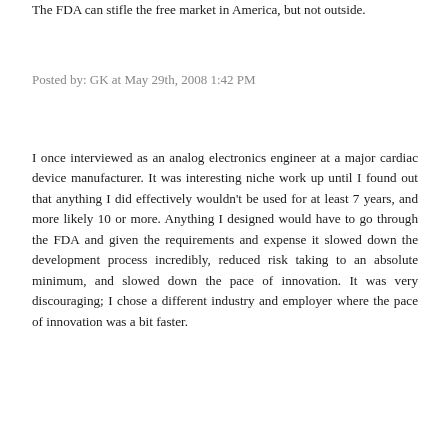The FDA can stifle the free market in America, but not outside.
Posted by: GK at May 29th, 2008 1:42 PM
I once interviewed as an analog electronics engineer at a major cardiac device manufacturer. It was interesting niche work up until I found out that anything I did effectively wouldn't be used for at least 7 years, and more likely 10 or more. Anything I designed would have to go through the FDA and given the requirements and expense it slowed down the development process incredibly, reduced risk taking to an absolute minimum, and slowed down the pace of innovation. It was very discouraging; I chose a different industry and employer where the pace of innovation was a bit faster.